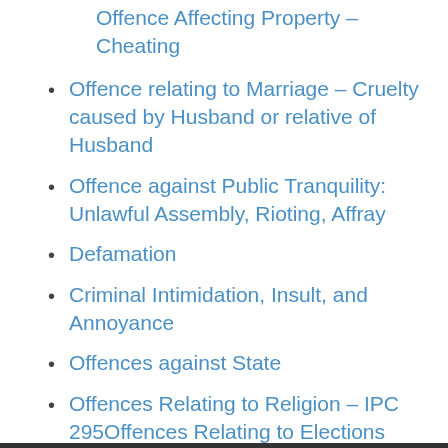Offence Affecting Property – Cheating
Offence relating to Marriage – Cruelty caused by Husband or relative of Husband
Offence against Public Tranquility: Unlawful Assembly, Rioting, Affray
Defamation
Criminal Intimidation, Insult, and Annoyance
Offences against State
Offences Relating to Religion – IPC 295Offences Relating to Elections